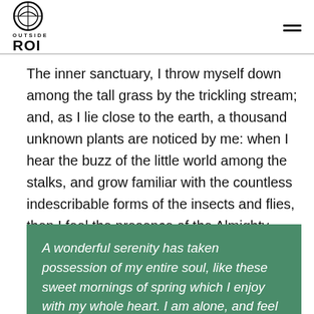OUTSIDE ROI
The inner sanctuary, I throw myself down among the tall grass by the trickling stream; and, as I lie close to the earth, a thousand unknown plants are noticed by me: when I hear the buzz of the little world among the stalks, and grow familiar with the countless indescribable forms of the insects and flies, then I feel the presence of the Almighty, who formed us in his own image, and the breath
A wonderful serenity has taken possession of my entire soul, like these sweet mornings of spring which I enjoy with my whole heart. I am alone, and feel the charm